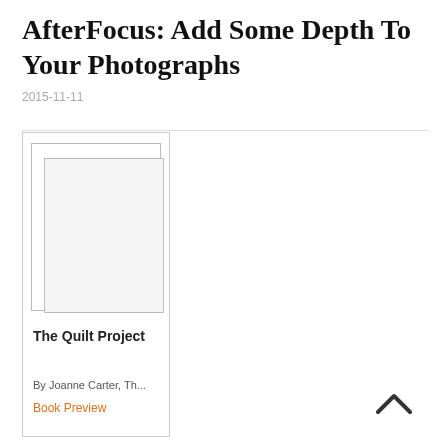AfterFocus: Add Some Depth To Your Photographs
2015-11-11
[Figure (illustration): Book card UI element with a white/grey book cover image placeholder, showing 'The Quilt Project' title, 'By Joanne Carter, Th...' author line, and an orange 'Book Preview' link]
The Quilt Project
By Joanne Carter, Th...
Book Preview